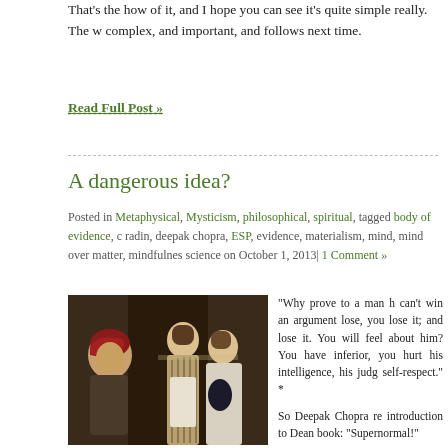That's the how of it, and I hope you can see it's quite simple really. The w... complex, and important, and follows next time.
Read Full Post »
A dangerous idea?
Posted in Metaphysical, Mysticism, philosophical, spiritual, tagged body of evidence, c... radin, deepak chopra, ESP, evidence, materialism, mind, mind over matter, mindfulnes... science on October 1, 2013| 1 Comment »
[Figure (photo): Classical painting showing an elderly woman with a red headscarf on the left, and two younger women in period dress on the right, in a dark interior setting.]
“Why prove to a man h... can’t win an argument... lose, you lose it; and... lose it. You will feel... about him? You have... inferior, you hurt his... intelligence, his judg... self-respect.” *
So Deepak Chopra re... introduction to Dean... book: “Supernormal!”